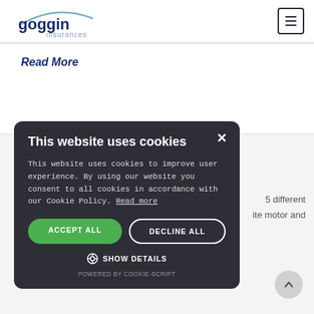[Figure (logo): Goggin Insurances logo with arc graphic and text]
Read More
5 different
ite motor and
[Figure (other): Cookie consent modal: This website uses cookies. This website uses cookies to improve user experience. By using our website you consent to all cookies in accordance with our Cookie Policy. Read more. ACCEPT ALL | DECLINE ALL | SHOW DETAILS. POWERED BY COOKIE-SCRIPT.]